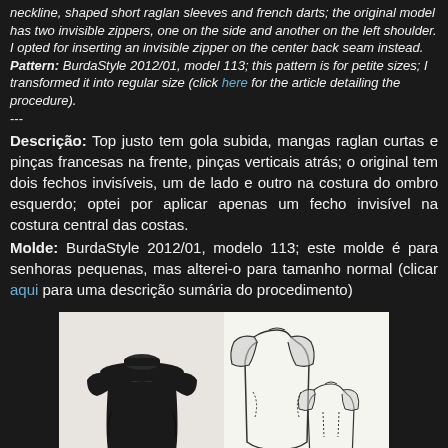neckline, shaped short raglan sleeves and french darts; the original model has two invisible zippers, one on the side and another on the left shoulder. I opted for inserting an invisible zipper on the center back seam instead.
Pattern: BurdaStyle 2012/01, model 113; this pattern is for petite sizes; I transformed it into regular size (click here for the article detailing the procedure).
---
Descrição: Top justo tem gola subida, mangas raglan curtas e pinças francesas na frente, pinças verticais atrás; o original tem dois fechos invisíveis, um de lado e outro na costura do ombro esquerdo; optei por aplicar apenas um fecho invisível na costura central das costas.
Molde: BurdaStyle 2012/01, modelo 113; este molde é para senhoras pequenas, mas alterei-o para tamanho normal (clicar aqui para uma descrição sumária do procedimento)
[Figure (photo): Photo of a fitted black top with short raglan sleeves and a high neckline, alongside a sewing pattern line drawing showing front and back views of the garment pieces.]